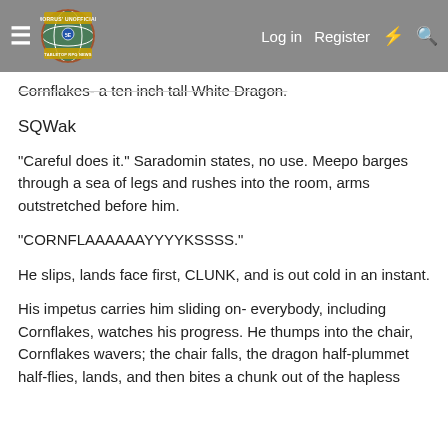Morrus' Unofficial Tabletop RPG News | Log in | Register
Cornflakes- a ten inch tall White Dragon.
SQWak
“Careful does it.” Saradomin states, no use. Meepo barges through a sea of legs and rushes into the room, arms outstretched before him.
“CORNFLAAAAAYYYYKSSSS.”
He slips, lands face first, CLUNK, and is out cold in an instant.
His impetus carries him sliding on- everybody, including Cornflakes, watches his progress. He thumps into the chair, Cornflakes wavers; the chair falls, the dragon half-plummet half-flies, lands, and then bites a chunk out of the hapless